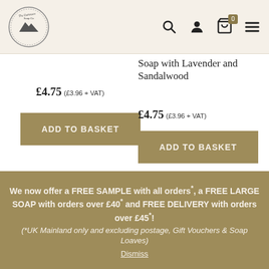The Dartmoor Soap Co. – navigation header with logo, search, account, basket, menu icons
£4.75 (£3.96 + VAT)
ADD TO BASKET
Soap with Lavender and Sandalwood
£4.75 (£3.96 + VAT)
ADD TO BASKET
We now offer a FREE SAMPLE with all orders*, a FREE LARGE SOAP with orders over £40* and FREE DELIVERY with orders over £45*! (*UK Mainland only and excluding postage, Gift Vouchers & Soap Loaves) Dismiss